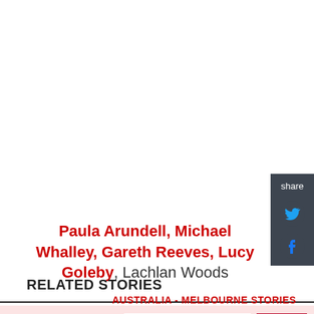Paula Arundell, Michael Whalley, Gareth Reeves, Lucy Goleby, Lachlan Woods
RELATED STORIES
AUSTRALIA - MELBOURNE STORIES
Sign-Up for Australia - Melbourne News